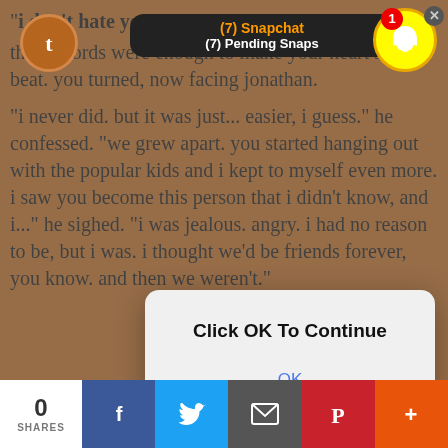[Figure (screenshot): Mobile reading app screenshot showing a fanfiction story page with a Snapchat notification overlay and an 'OK' dialog popup. Bottom has social share bar with 0 shares, Facebook, Twitter, email, Pinterest, and more buttons.]
"i don't hate you."
those words were enough to make your heart skip a beat. you turned, now facing jonathan.
"i never did. but it was just... easier, i guess." he confessed. "we grew apart. you started hanging out with the popular kids and i kept to myself even more. i saw you become this person that i didn't know, and i..." he sighed. "i was jealous. angry. i had no reason to be, but i was. i thought we'd be friends forever, you know. and then we weren't."
[Figure (screenshot): Snapchat notification bar showing '(7) Snapchat' and '(7) Pending Snaps' with Snapchat ghost icon and badge showing 1, plus Tumblr icon and X close button]
[Figure (infographic): Modal dialog saying 'Click OK To Continue' with an OK button]
you hesitated. you had been brave enough to come to a sketchy reporter's house in order to expose a group of important people who were capable of ruining your life. but you weren't sure if you were brave e
0
SHARES